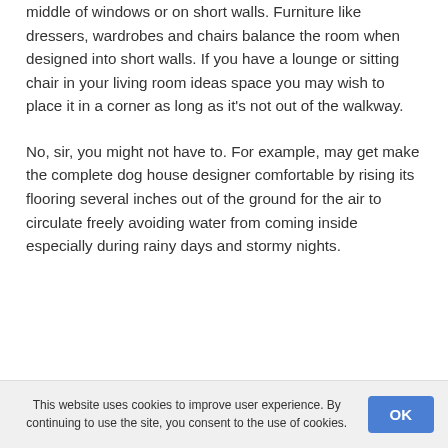middle of windows or on short walls. Furniture like dressers, wardrobes and chairs balance the room when designed into short walls. If you have a lounge or sitting chair in your living room ideas space you may wish to place it in a corner as long as it's not out of the walkway.
No, sir, you might not have to. For example, may get make the complete dog house designer comfortable by rising its flooring several inches out of the ground for the air to circulate freely avoiding water from coming inside especially during rainy days and stormy nights.
This website uses cookies to improve user experience. By continuing to use the site, you consent to the use of cookies.